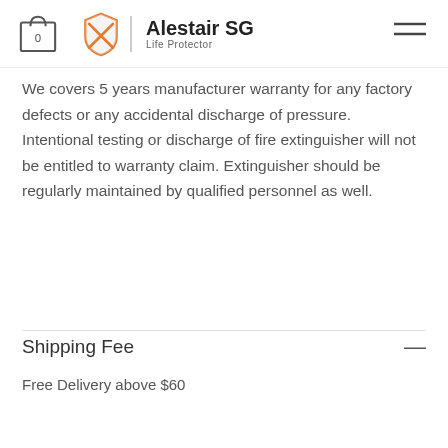Alestair SG Life Protector
We covers 5 years manufacturer warranty for any factory defects or any accidental discharge of pressure. Intentional testing or discharge of fire extinguisher will not be entitled to warranty claim. Extinguisher should be regularly maintained by qualified personnel as well.
Shipping Fee
Free Delivery above $60